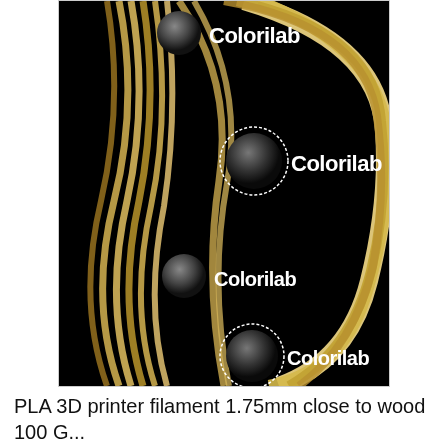[Figure (photo): Close-up photo of gold-colored PLA 3D printer filament coils on a black background, with four Colorilab watermarks overlaid: two with dashed circular borders and two solid spherical icons, each labeled 'Colorilab' in bold white text.]
PLA 3D printer filament 1.75mm close to wood 100 G...